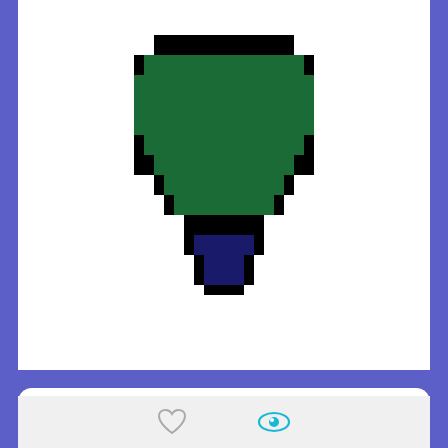[Figure (illustration): Pixel art of a Beyblade Minecraft item — a pixelated green and dark navy shape resembling a spinning top, with black pixel outlines, displayed on a white card background.]
Beyblade
Minecraft Item for Minecraft Java Edition | by German
Beyblade was remixed from Stained Glass.
REMIX ITEM